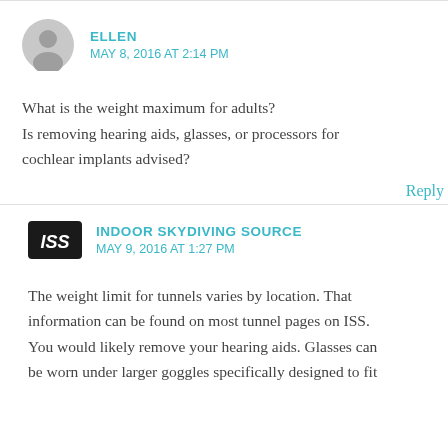ELLEN
MAY 8, 2016 AT 2:14 PM
What is the weight maximum for adults?
Is removing hearing aids, glasses, or processors for cochlear implants advised?
Reply
INDOOR SKYDIVING SOURCE
MAY 9, 2016 AT 1:27 PM
The weight limit for tunnels varies by location. That information can be found on most tunnel pages on ISS. You would likely remove your hearing aids. Glasses can be worn under larger goggles specifically designed to fit